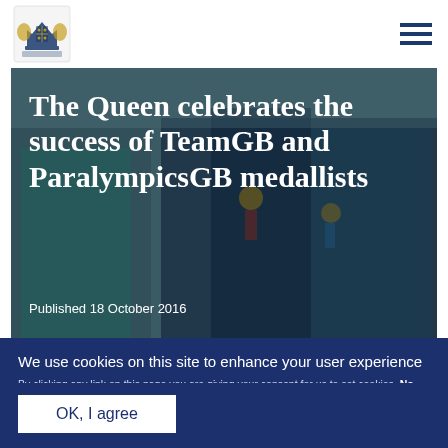[Royal crest logo] [Menu icon]
[Figure (photo): Photo of the Queen meeting TeamGB and ParalympicsGB medallists, people in blue tracksuits, Queen in turquoise outfit]
The Queen celebrates the success of TeamGB and ParalympicsGB medallists
Published 18 October 2016
We use cookies on this site to enhance your user experience
By clicking any link on this page you are giving your consent for us to set cookies. No, give me more info
OK, I agree